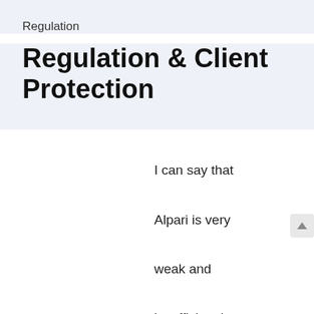Regulation
Regulation & Client Protection
I can say that Alpari is very weak and insufficient in regulation. Under normal circumstances,